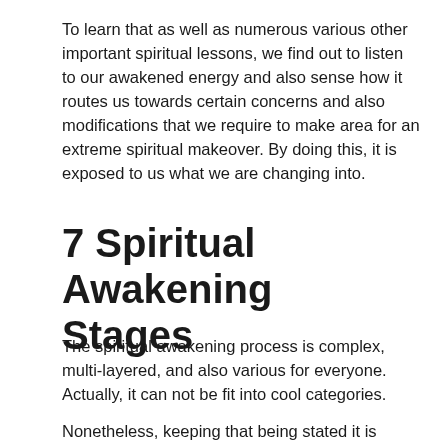To learn that as well as numerous various other important spiritual lessons, we find out to listen to our awakened energy and also sense how it routes us towards certain concerns and also modifications that we require to make area for an extreme spiritual makeover. By doing this, it is exposed to us what we are changing into.
7 Spiritual Awakening Stages
The spiritual awakening process is complex, multi-layered, and also various for everyone. Actually, it can not be fit into cool categories.
Nonetheless, keeping that being stated it is